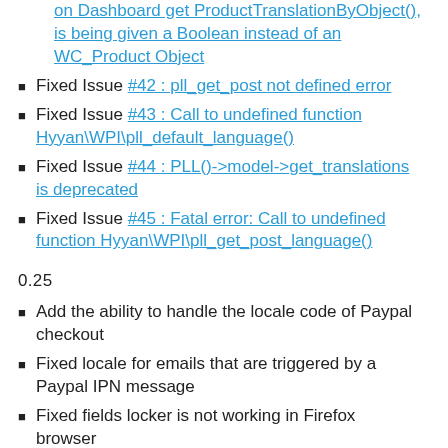on Dashboard get ProductTranslationByObject() is being given a Boolean instead of an WC_Product Object
Fixed Issue #42 : pll_get_post not defined error
Fixed Issue #43 : Call to undefined function Hyyan\WPI\pll_default_language()
Fixed Issue #44 : PLL()->model->get_translations is deprecated
Fixed Issue #45 : Fatal error: Call to undefined function Hyyan\WPI\pll_get_post_language()
0.25
Add the ability to handle the locale code of Paypal checkout
Fixed locale for emails that are triggered by a Paypal IPN message
Fixed fields locker is not working in Firefox browser